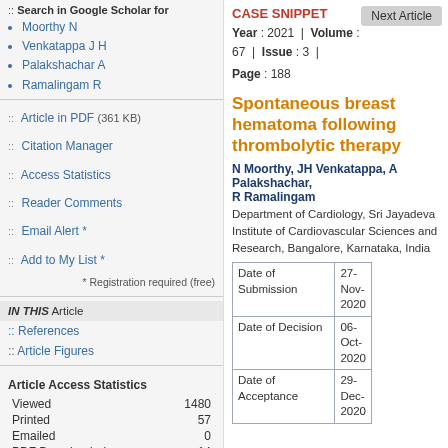:: Search in Google Scholar for
Moorthy N
Venkatappa J H
Palakshachar A
Ramalingam R
:: Article in PDF (361 KB)
:: Citation Manager
:: Access Statistics
:: Reader Comments
:: Email Alert *
:: Add to My List *
* Registration required (free)
IN THIS Article
:: References
:: Article Figures
Article Access Statistics
|  |  |
| --- | --- |
| Viewed | 1480 |
| Printed | 57 |
| Emailed | 0 |
| PDF Downloaded | 14 |
| Comments | [Add] |
Next Article
CASE SNIPPET
Year : 2021 | Volume : 67 | Issue : 3 | Page : 188
Spontaneous breast hematoma following thrombolytic therapy
N Moorthy, JH Venkatappa, A Palakshachar, R Ramalingam
Department of Cardiology, Sri Jayadeva Institute of Cardiovascular Sciences and Research, Bangalore, Karnataka, India
|  |  |
| --- | --- |
| Date of Submission | 27-Nov-2020 |
| Date of Decision | 06-Oct-2020 |
| Date of Acceptance | 29-Dec-2020 |